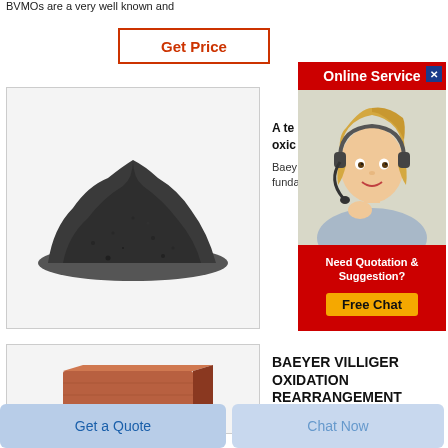BVMOs are a very well known and
Get Price
[Figure (photo): A pile of dark grey/black powder on a white background]
[Figure (illustration): Online Service popup with a woman wearing a headset, red header 'Online Service', close button, and a bottom section with 'Need Quotation & Suggestion?' and a Free Chat button]
A te... oxic...
Baey... funda...
[Figure (photo): A copper or wood-colored brick/block on a white background]
BAEYER VILLIGER OXIDATION REARRANGEMENT
Get a Quote
Chat Now